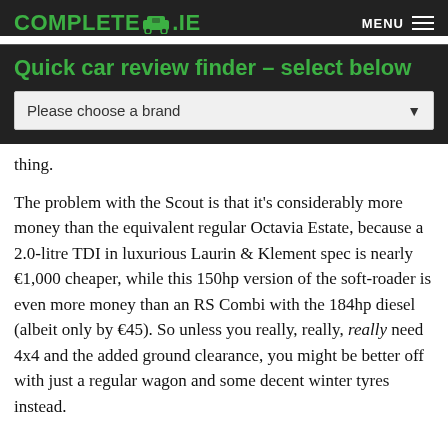COMPLETECAR.IE | MENU
Quick car review finder – select below
Please choose a brand
thing.
The problem with the Scout is that it's considerably more money than the equivalent regular Octavia Estate, because a 2.0-litre TDI in luxurious Laurin & Klement spec is nearly €1,000 cheaper, while this 150hp version of the soft-roader is even more money than an RS Combi with the 184hp diesel (albeit only by €45). So unless you really, really, really need 4x4 and the added ground clearance, you might be better off with just a regular wagon and some decent winter tyres instead.